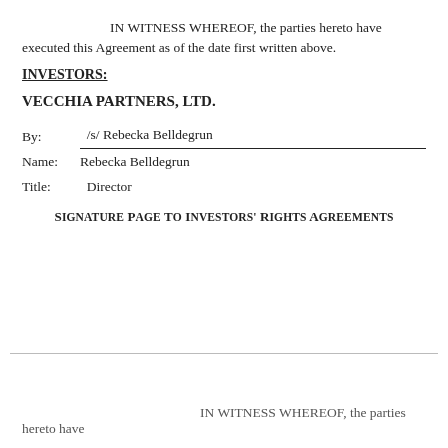IN WITNESS WHEREOF, the parties hereto have executed this Agreement as of the date first written above.
INVESTORS:
VECCHIA PARTNERS, LTD.
By: /s/ Rebecka Belldegrun
Name: Rebecka Belldegrun
Title: Director
Signature Page To Investors' Rights Agreements
IN WITNESS WHEREOF, the parties hereto have